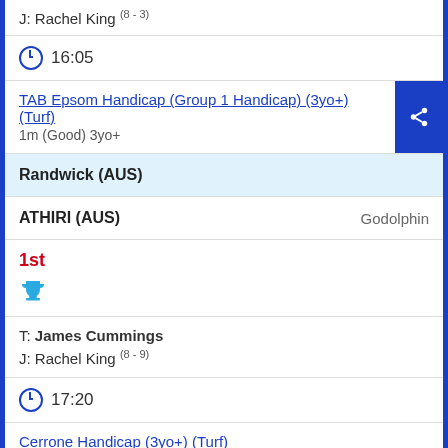J: Rachel King (8 - 3)
16:05
TAB Epsom Handicap (Group 1 Handicap) (3yo+) (Turf)
1m (Good) 3yo+
Randwick (AUS)
ATHIRI (AUS)   Godolphin
1st
T: James Cummings
J: Rachel King (8 - 9)
17:20
Cerrone Handicap (3yo+) (Turf)
6f (Good) 3yo+